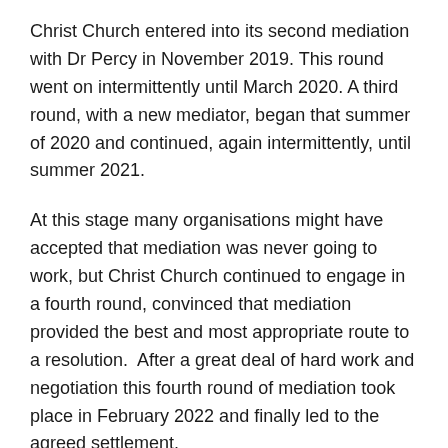Christ Church entered into its second mediation with Dr Percy in November 2019. This round went on intermittently until March 2020. A third round, with a new mediator, began that summer of 2020 and continued, again intermittently, until summer 2021.
At this stage many organisations might have accepted that mediation was never going to work, but Christ Church continued to engage in a fourth round, convinced that mediation provided the best and most appropriate route to a resolution.  After a great deal of hard work and negotiation this fourth round of mediation took place in February 2022 and finally led to the agreed settlement.
Safeguarding
Safeguarding has been a major theme of the attacks made